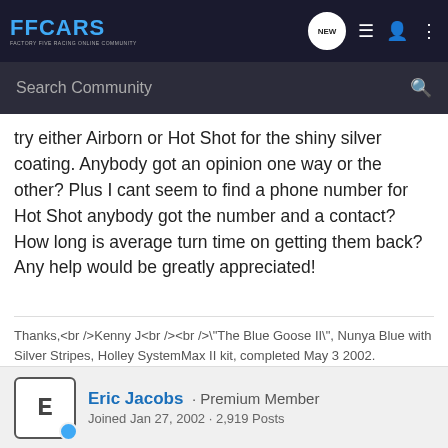FFCARS - FACTORY FIVE RACING ONLINE COMMUNITY
try either Airborn or Hot Shot for the shiny silver coating. Anybody got an opinion one way or the other? Plus I cant seem to find a phone number for Hot Shot anybody got the number and a contact? How long is average turn time on getting them back? Any help would be greatly appreciated!
Thanks,<br />Kenny J<br /><br />"The Blue Goose II", Nunya Blue with Silver Stripes, Holley SystemMax II kit, completed May 3 2002.
Eric Jacobs · Premium Member
Joined Jan 27, 2002 · 2,919 Posts